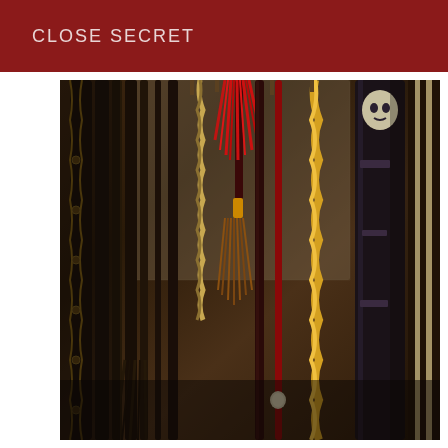CLOSE SECRET
[Figure (photo): A collection of whips, riding crops, floggers, and decorative implements hanging vertically in a dark wooden cabinet or rack. Items include braided leather whips, red floggers, a yellow/gold twisted rope crop, dark leather straps, and decorative pieces with tassels and fringe.]